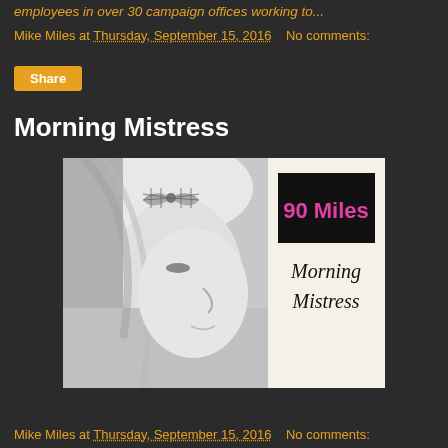employees in over 30 campaign offices working to...
Mike Miles at Thursday, September 15, 2016   No comments:
Share
Morning Mistress
[Figure (photo): Composite image: left side shows a black-and-white photo of a blonde woman in profile wearing a gingham bow in her hair; right side shows a white panel with a black rectangle containing pink text '90 Miles' and below it italic text 'Morning Mistress']
Mike Miles at Thursday, September 15, 2016   No comments: